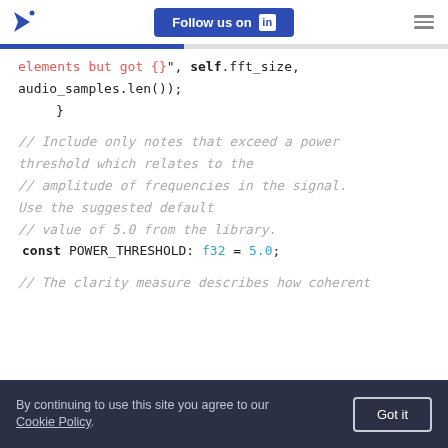Follow us on LinkedIn
[Figure (screenshot): Blue progress bar below header]
elements but got {}", self.fft_size,
audio_samples.len());
    }

    // Include only notes that exceed a power threshold which relates to the
    // amplitude of frequencies in the signal. Use the suggested default
    // value of 5.0 from the library.
    const POWER_THRESHOLD: f32 = 5.0;

    // The clarity measure describes how coherent
By continuing to use this site you agree to our Cookie Policy.